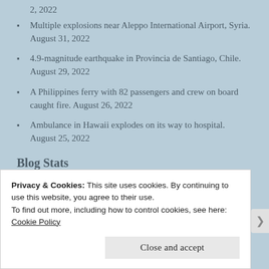2, 2022
Multiple explosions near Aleppo International Airport, Syria. August 31, 2022
4.9-magnitude earthquake in Provincia de Santiago, Chile. August 29, 2022
A Philippines ferry with 82 passengers and crew on board caught fire. August 26, 2022
Ambulance in Hawaii explodes on its way to hospital. August 25, 2022
Blog Stats
128,784 Views
Privacy & Cookies: This site uses cookies. By continuing to use this website, you agree to their use.
To find out more, including how to control cookies, see here: Cookie Policy
Close and accept